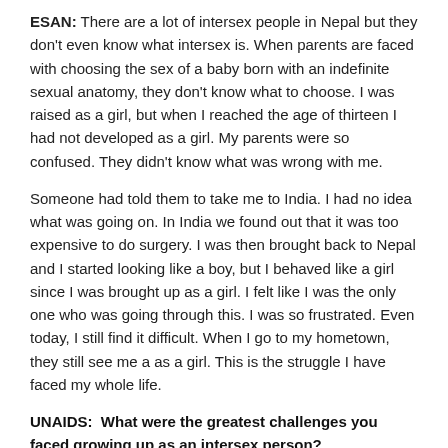ESAN: There are a lot of intersex people in Nepal but they don't even know what intersex is. When parents are faced with choosing the sex of a baby born with an indefinite sexual anatomy, they don't know what to choose. I was raised as a girl, but when I reached the age of thirteen I had not developed as a girl. My parents were so confused. They didn't know what was wrong with me.
Someone had told them to take me to India. I had no idea what was going on. In India we found out that it was too expensive to do surgery. I was then brought back to Nepal and I started looking like a boy, but I behaved like a girl since I was brought up as a girl. I felt like I was the only one who was going through this. I was so frustrated. Even today, I still find it difficult. When I go to my hometown, they still see me a as a girl. This is the struggle I have faced my whole life.
UNAIDS:  What were the greatest challenges you faced growing up as an intersex person?